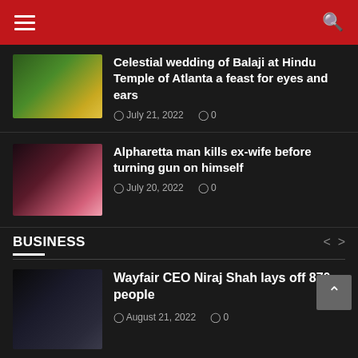Navigation header with menu and search
Celestial wedding of Balaji at Hindu Temple of Atlanta a feast for eyes and ears
July 21, 2022  0
Alpharetta man kills ex-wife before turning gun on himself
July 20, 2022  0
BUSINESS
Wayfair CEO Niraj Shah lays off 870 people
August 21, 2022  0
Harvard's Raj Chetty reveals how 21 bn FB friendships shape economic outcomes